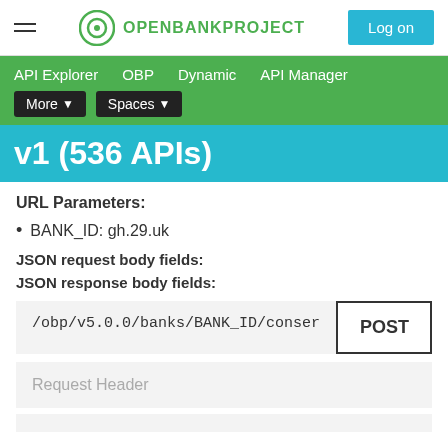OPENBANKPROJECT — Log on
API Explorer   OBP   Dynamic   API Manager   More ▾   Spaces ▾
v1 (536 APIs)
URL Parameters:
BANK_ID: gh.29.uk
JSON request body fields:
JSON response body fields:
/obp/v5.0.0/banks/BANK_ID/conser   POST
Request Header